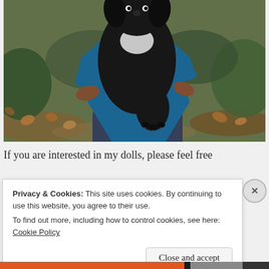[Figure (photo): A person in a blue shirt holding a dark fluffy puppy/dog outdoors, with autumn leaves in the background. The person is wearing dark jeans. The dog has dark fur with a white chest patch.]
If you are interested in my dolls, please feel free
Privacy & Cookies: This site uses cookies. By continuing to use this website, you agree to their use.
To find out more, including how to control cookies, see here: Cookie Policy
Close and accept